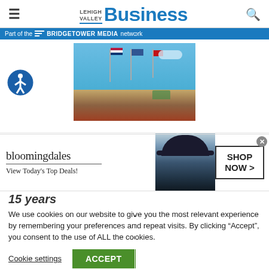LEHIGH VALLEY BUSINESS
Part of the BRIDGETOWER MEDIA network
[Figure (photo): Outdoor scene with flags on flagpoles, brick monument, landscaping and blue sky]
[Figure (infographic): Bloomingdales advertisement banner: bloomingdales logo, View Today's Top Deals!, woman wearing large hat, SHOP NOW > button]
15 years
We use cookies on our website to give you the most relevant experience by remembering your preferences and repeat visits. By clicking “Accept”, you consent to the use of ALL the cookies.
Cookie settings   ACCEPT